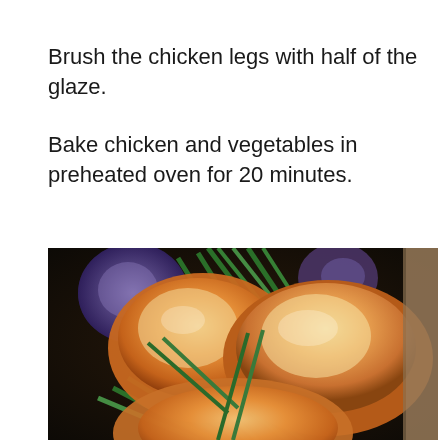Brush the chicken legs with half of the glaze.
Bake chicken and vegetables in preheated oven for 20 minutes.
[Figure (photo): Close-up photo of glazed chicken legs (drumsticks) with green beans and purple potatoes on a baking pan, showing the chicken brushed with a golden-brown glaze ready to bake.]